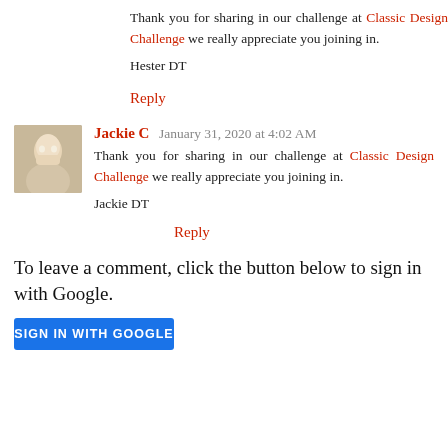Thank you for sharing in our challenge at Classic Design Challenge we really appreciate you joining in.
Hester DT
Reply
Jackie C  January 31, 2020 at 4:02 AM
Thank you for sharing in our challenge at Classic Design Challenge we really appreciate you joining in.
Jackie DT
Reply
To leave a comment, click the button below to sign in with Google.
SIGN IN WITH GOOGLE